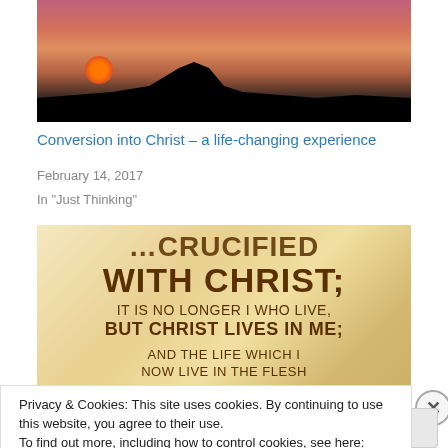[Figure (photo): Sunset silhouette photo with dark landscape foreground and orange/red sky with sun]
Conversion into Christ – a life-changing experience
February 14, 2017
In "Just Thinking"
[Figure (illustration): Scripture quote image on parchment background: '...WITH CHRIST; IT IS NO LONGER I WHO LIVE, BUT CHRIST LIVES IN ME; AND THE LIFE WHICH I NOW LIVE IN THE FLESH I LIVE BY FAITH']
Privacy & Cookies: This site uses cookies. By continuing to use this website, you agree to their use.
To find out more, including how to control cookies, see here: Cookie Policy
Close and accept